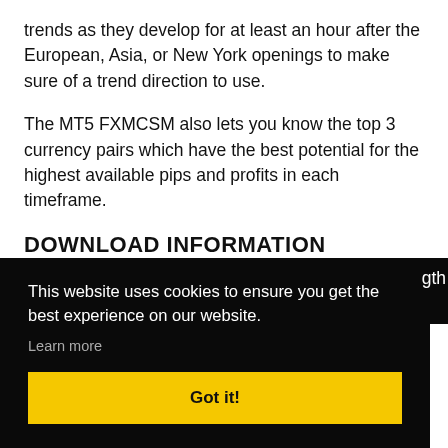trends as they develop for at least an hour after the European, Asia, or New York openings to make sure of a trend direction to use.
The MT5 FXMCSM also lets you know the top 3 currency pairs which have the best potential for the highest available pips and profits in each timeframe.
DOWNLOAD INFORMATION
This website uses cookies to ensure you get the best experience on our website.
Learn more
Got it!